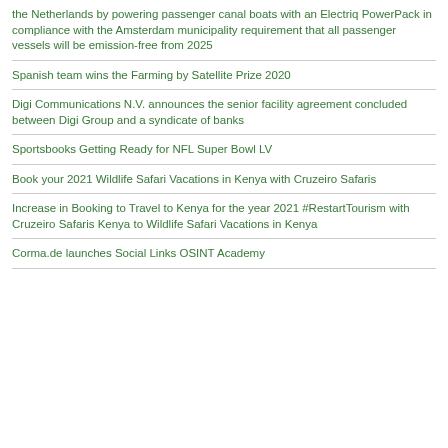the Netherlands by powering passenger canal boats with an Electriq PowerPack in compliance with the Amsterdam municipality requirement that all passenger vessels will be emission-free from 2025
Spanish team wins the Farming by Satellite Prize 2020
Digi Communications N.V. announces the senior facility agreement concluded between Digi Group and a syndicate of banks
Sportsbooks Getting Ready for NFL Super Bowl LV
Book your 2021 Wildlife Safari Vacations in Kenya with Cruzeiro Safaris
Increase in Booking to Travel to Kenya for the year 2021 #RestartTourism with Cruzeiro Safaris Kenya to Wildlife Safari Vacations in Kenya
Corma.de launches Social Links OSINT Academy